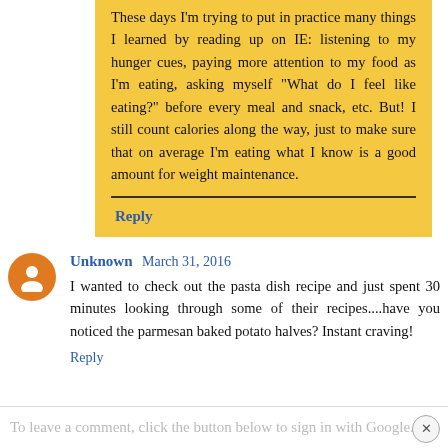These days I'm trying to put in practice many things I learned by reading up on IE: listening to my hunger cues, paying more attention to my food as I'm eating, asking myself "What do I feel like eating?" before every meal and snack, etc. But! I still count calories along the way, just to make sure that on average I'm eating what I know is a good amount for weight maintenance.
Reply
Unknown March 31, 2016
I wanted to check out the pasta dish recipe and just spent 30 minutes looking through some of their recipes....have you noticed the parmesan baked potato halves? Instant craving!
Reply
To leave a comment, click the button below to sign in with Google.